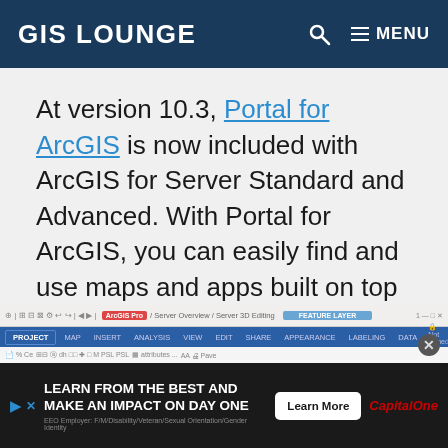GIS LOUNGE
At version 10.3, Portal for ArcGIS is now included with ArcGIS for Server Standard and Advanced. With Portal for ArcGIS, you can easily find and use maps and apps built on top of ArcGIS for Server. You can deploy Portal for ArcGIS on-premises and behind your firewall to effectively create, store, and manage geographic tools and information products from a secured, central location.
[Figure (screenshot): Partial screenshot of ArcGIS Pro interface showing toolbar with tabs: PROJECT, MAP, INSERT, ANALYSIS, VIEW, EDIT, SHARE, APPEARANCE, LABELING, DATA. Feature Layer banner visible at top.]
[Figure (infographic): Capital One advertisement banner: 'LEARN FROM THE BEST AND MAKE AN IMPACT ON DAY ONE' with a 'Learn More' button and Capital One logo. EEO Employer disclaimer text at bottom.]